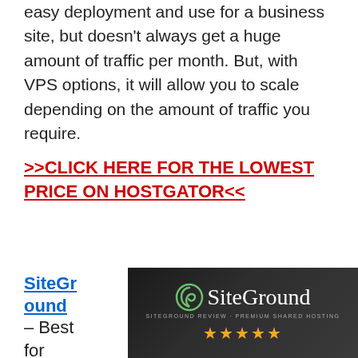easy deployment and use for a business site, but doesn't always get a huge amount of traffic per month. But, with VPS options, it will allow you to scale depending on the amount of traffic you require.
>>CLICK HERE FOR THE LOWEST PRICE ON HOSTGATOR<<
SiteGround – Best for
[Figure (illustration): SiteGround banner image on dark background showing the SiteGround logo with a spiral icon, tagline 'SITEGROUND REVIEW · PREMIUM SHARED HOSTING', and five gold stars below.]